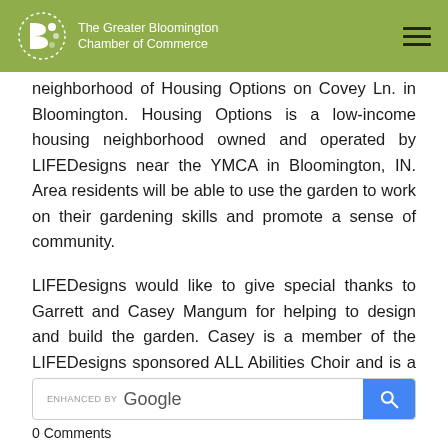The Greater Bloomington Chamber of Commerce
neighborhood of Housing Options on Covey Ln. in Bloomington. Housing Options is a low-income housing neighborhood owned and operated by LIFEDesigns near the YMCA in Bloomington, IN. Area residents will be able to use the garden to work on their gardening skills and promote a sense of community.
LIFEDesigns would like to give special thanks to Garrett and Casey Mangum for helping to design and build the garden. Casey is a member of the LIFEDesigns sponsored ALL Abilities Choir and is a testament to not limiting people and their abilities.
0 Comments